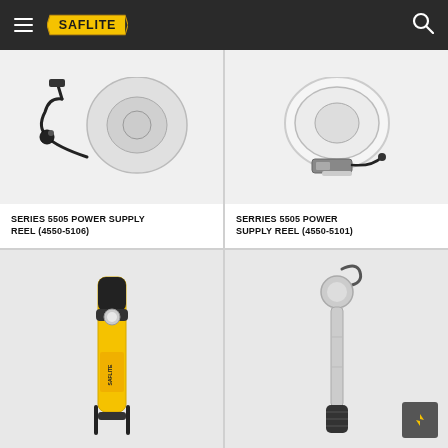SAFLITE navigation header
[Figure (photo): Series 5505 Power Supply Reel product image showing cable reel with black cord and connector]
SERIES 5505 POWER SUPPLY REEL (4550-5106)
[Figure (photo): Serries 5505 Power Supply Reel product image showing white circular reel with power box]
SERRIES 5505 POWER SUPPLY REEL (4550-5101)
[Figure (photo): Yellow and black handheld work light/flashlight product]
[Figure (photo): Telescoping pole lamp product with hook top on grey background]